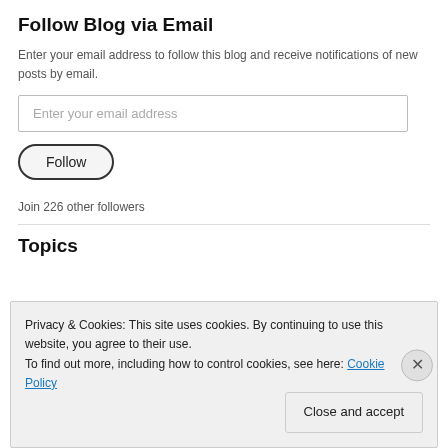Follow Blog via Email
Enter your email address to follow this blog and receive notifications of new posts by email.
Enter your email address
Follow
Join 226 other followers
Topics
Privacy & Cookies: This site uses cookies. By continuing to use this website, you agree to their use.
To find out more, including how to control cookies, see here: Cookie Policy
Close and accept